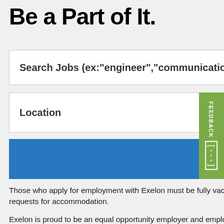Be a Part of It.
Search  Jobs (ex:"engineer","communication")
Location
SEARCH
Those who apply for employment with Exelon must be fully vaccinated against COVID-19 as a condition of hire, subject approved requests for accommodation.
Exelon is proud to be an equal opportunity employer and employees or applicants will receive consideration for employment without regard to: age, color, disability, gender, national origin, race, religion, sexual orientation, gender identity, protected veteran status, or any other classification